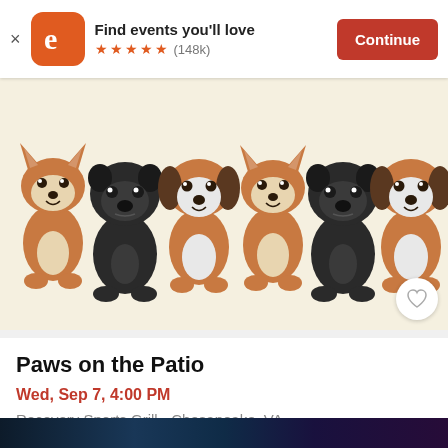Find events you'll love ★★★★★ (148k) Continue
[Figure (illustration): Six cartoon dog stickers on cream background: three Shiba Inu (tan/orange), two black Pugs, and one Beagle (brown/white), all sitting side by side]
Paws on the Patio
Wed, Sep 7, 4:00 PM
Recovery Sports Grill • Chesapeake, VA
Free
[Figure (photo): Partial view of a dark event/concert promotional image with neon colors and text partially visible]